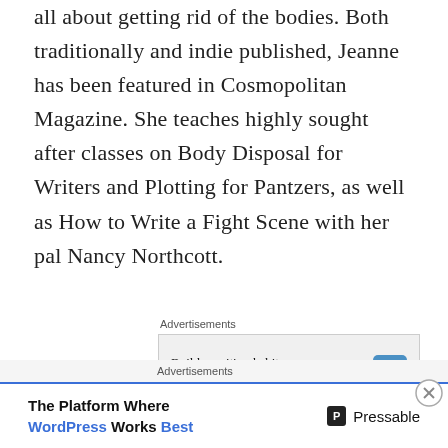all about getting rid of the bodies. Both traditionally and indie published, Jeanne has been featured in Cosmopolitan Magazine. She teaches highly sought after classes on Body Disposal for Writers and Plotting for Pantzers, as well as How to Write a Fight Scene with her pal Nancy Northcott.
Advertisements
[Figure (other): Advertisement box: 'Build a writing habit. Post on the go.' with GET THE APP button and WordPress logo icon]
REPORT THIS AD
Advertisements
[Figure (other): Advertisement banner: 'The Platform Where WordPress Works Best' with Pressable logo]